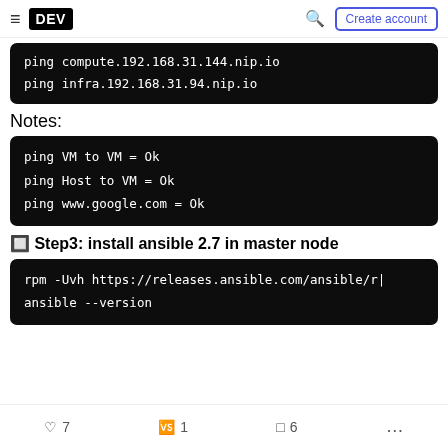DEV | Create account
[Figure (screenshot): Terminal code block showing: ping compute.192.168.31.144.nip.io / ping infra.192.168.31.94.nip.io]
Notes:
[Figure (screenshot): Terminal code block showing: ping VM to VM = Ok / ping Host to VM = Ok / ping www.google.com = Ok]
🔲 Step3: install ansible 2.7 in master node
[Figure (screenshot): Terminal code block showing: rpm -Uvh https://releases.ansible.com/ansible/r| / ansible --version]
7  1  6  ...